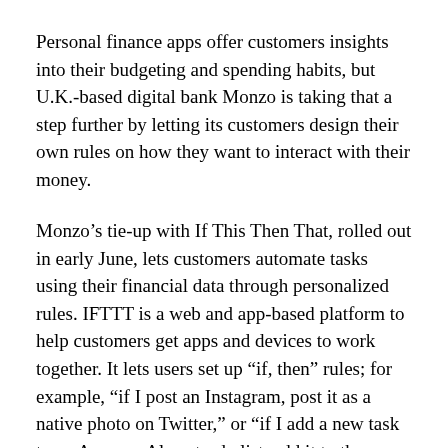Personal finance apps offer customers insights into their budgeting and spending habits, but U.K.-based digital bank Monzo is taking that a step further by letting its customers design their own rules on how they want to interact with their money.
Monzo's tie-up with If This Then That, rolled out in early June, lets customers automate tasks using their financial data through personalized rules. IFTTT is a web and app-based platform to help customers get apps and devices to work together. It lets users set up “if, then” rules; for example, “if I post an Instagram, post it as a native photo on Twitter,” or “if I add a new task to an Amazon Alexa to-do list, add it to the iPhone reminders app,” and so on. IFTTT’s integration with consumer financial data lets